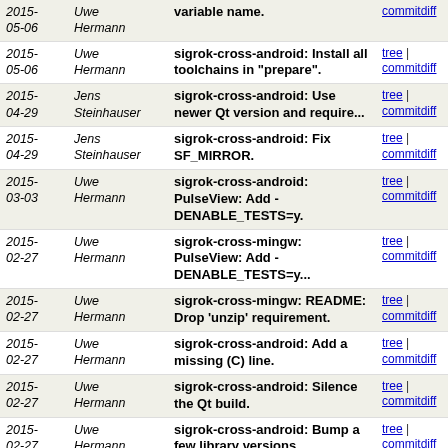| Date | Author | Message | Links |
| --- | --- | --- | --- |
| 2015-05-06 | Uwe Hermann | variable name. | tree | commitdiff |
| 2015-05-06 | Uwe Hermann | sigrok-cross-android: Install all toolchains in "prepare". | tree | commitdiff |
| 2015-04-29 | Jens Steinhauser | sigrok-cross-android: Use newer Qt version and require... | tree | commitdiff |
| 2015-04-29 | Jens Steinhauser | sigrok-cross-android: Fix SF_MIRROR. | tree | commitdiff |
| 2015-03-03 | Uwe Hermann | sigrok-cross-android: PulseView: Add -DENABLE_TESTS=y. | tree | commitdiff |
| 2015-02-27 | Uwe Hermann | sigrok-cross-mingw: PulseView: Add -DENABLE_TESTS=y... | tree | commitdiff |
| 2015-02-27 | Uwe Hermann | sigrok-cross-mingw: README: Drop 'unzip' requirement. | tree | commitdiff |
| 2015-02-27 | Uwe Hermann | sigrok-cross-android: Add a missing (C) line. | tree | commitdiff |
| 2015-02-27 | Uwe Hermann | sigrok-cross-android: Silence the Qt build. | tree | commitdiff |
| 2015-02-27 | Uwe Hermann | sigrok-cross-android: Bump a few library versions. | tree | commitdiff |
| 2015-02-14 | Uwe Hermann | sigrok-native-macosx: README: Document "brew link ... | tree | commitdiff |
| 2015-02-14 | Uwe Hermann | sigrok-cross-linux: Don't do verbose builds by default. | tree | commitdiff |
| 2015-02-14 | Uwe Hermann | sigrok-cross-android: Add facility to do verbose builds. | tree | commitdiff |
| 2015- | Uwe | sigrok-cross-mingw: Add facility to do | tree | commitdiff |